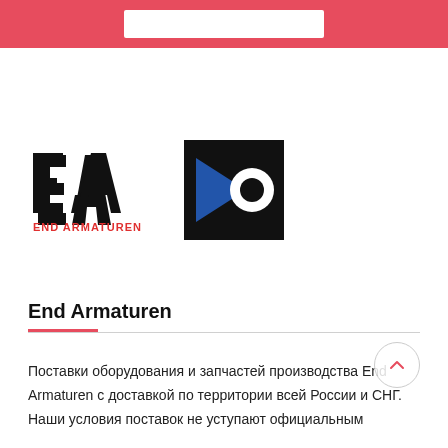[Figure (logo): END ARMATUREN logo: large bold EA letters with red 'END ARMATUREN' text below]
[Figure (logo): Square black logo with blue triangle arrow pointing right and white circle, resembling a valve/actuator symbol]
End Armaturen
Поставки оборудования и запчастей производства End Armaturen с доставкой по территории всей России и СНГ. Наши условия поставок не уступают официальным